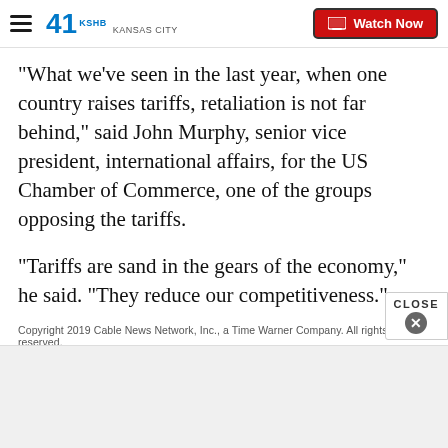41 KSHB KANSAS CITY | Watch Now
"What we've seen in the last year, when one country raises tariffs, retaliation is not far behind," said John Murphy, senior vice president, international affairs, for the US Chamber of Commerce, one of the groups opposing the tariffs.
"Tariffs are sand in the gears of the economy," he said. "They reduce our competitiveness."
Copyright 2019 Cable News Network, Inc., a Time Warner Company. All rights reserved.
Report a typo